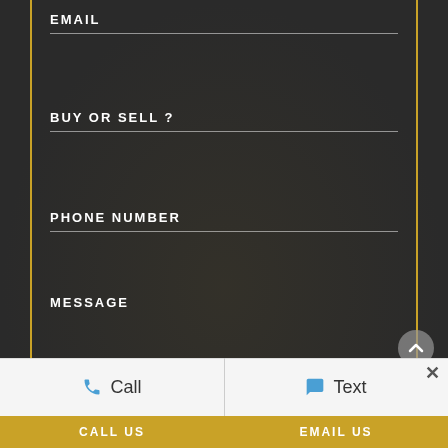EMAIL
BUY OR SELL ?
PHONE NUMBER
MESSAGE
SUBMIT
Call
Text
CALL US
EMAIL US